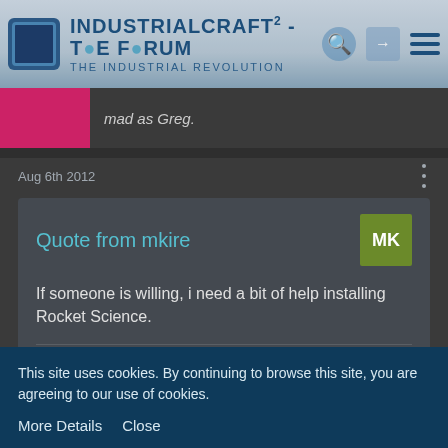IndustrialCraft² - The IC Forum - The Industrial Revolution
mad as Greg.
Aug 6th 2012
Quote from mkire

If someone is willing, i need a bit of help installing Rocket Science.

Display More
It's incompatible with CPW mods...
This site uses cookies. By continuing to browse this site, you are agreeing to our use of cookies.

More Details   Close